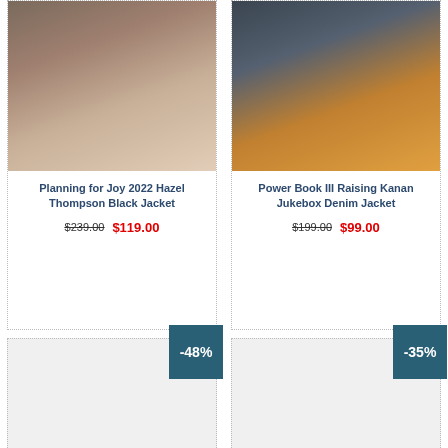[Figure (photo): Woman browsing clothing rack, wearing dark jacket, warm tones]
Planning for Joy 2022 Hazel Thompson Black Jacket
$239.00   $119.00
[Figure (photo): Man wearing denim jacket over yellow hoodie, outdoors]
Power Book III Raising Kanan Jukebox Denim Jacket
$199.00   $99.00
-48%
-35%